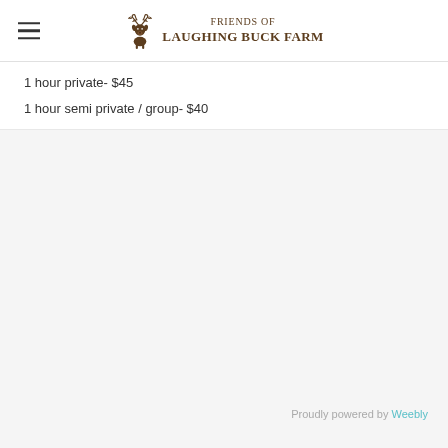Friends of Laughing Buck Farm
1 hour private- $45
1 hour semi private / group- $40
Proudly powered by Weebly